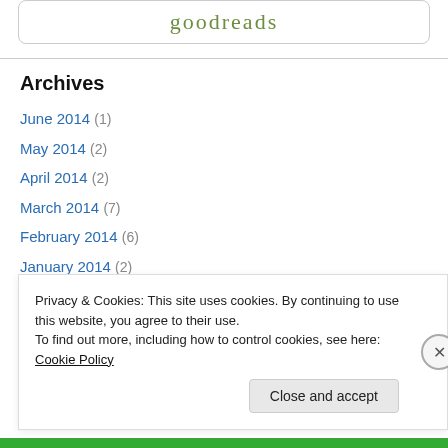[Figure (logo): Goodreads logo in green text inside a rounded rectangle border]
Archives
June 2014 (1)
May 2014 (2)
April 2014 (2)
March 2014 (7)
February 2014 (6)
January 2014 (2)
December 2013 (4)
November 2013 (1)
October 2013 (2)
Privacy & Cookies: This site uses cookies. By continuing to use this website, you agree to their use.
To find out more, including how to control cookies, see here: Cookie Policy
Close and accept